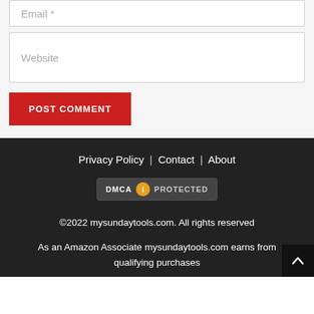Email *
Website
POST COMMENT
Privacy Policy | Contact | About
[Figure (logo): DMCA Protected badge]
©2022 mysundaytools.com. All rights reserved
As an Amazon Associate mysundaytools.com earns from qualifying purchases